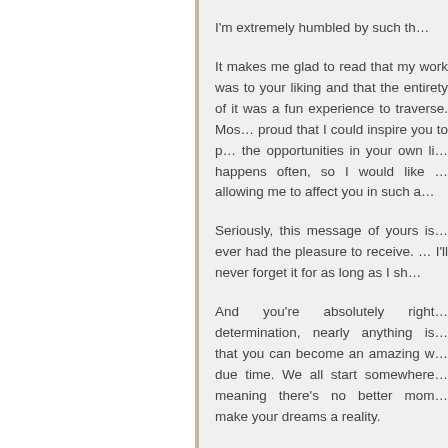I'm extremely humbled by such th…
It makes me glad to read that my work was to your liking and that the entirety of it was a fun experience to traverse. Most of all, I'm proud that I could inspire you to pursue some of the opportunities in your own life. That rarely happens often, so I would like to thank you for allowing me to affect you in such a…
Seriously, this message of yours is one of the best I ever had the pleasure to receive. I mean that sincerely. I'll never forget it for as long as I sh…
And you're absolutely right that with enough determination, nearly anything is possible. I believe that you can become an amazing writer yourself in due time. We all start somewhere after all, meaning there's no better mom… make your dreams a reality.